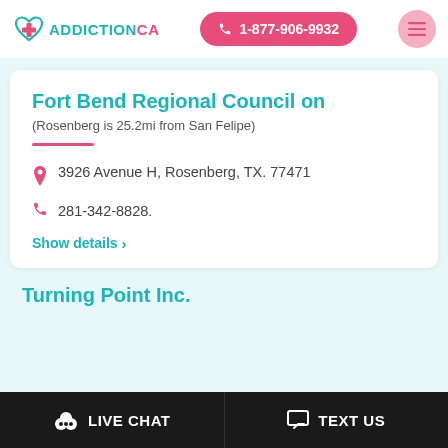ADDICTIONCA | 1-877-906-9932
Fort Bend Regional Council on
(Rosenberg is 25.2mi from San Felipe)
3926 Avenue H, Rosenberg, TX. 77471
281-342-8828.
Show details ›
Turning Point Inc.
LIVE CHAT | TEXT US